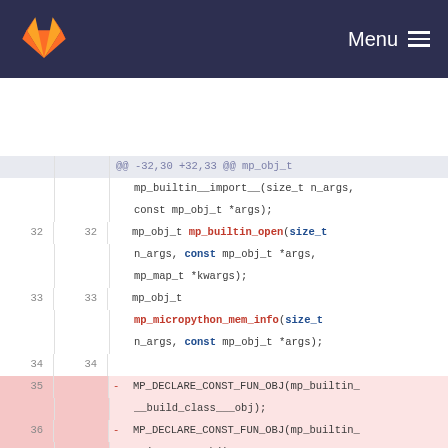GitLab — Menu
[Figure (screenshot): GitLab diff view showing changes to a C header file. Lines 32-39 are shown. Lines 35-39 are removals (red background) of MP_DECLARE_CONST_FUN_OBJ macros for mp_builtin___build_class___obj, mp_builtin___import___obj, mp_builtin___repl_print___obj, mp_builtin_abs_obj, mp_builtin_all_obj.]